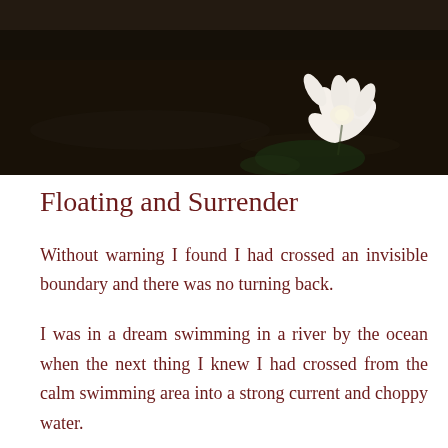[Figure (photo): Dark photograph of a water lily / lotus flower floating on dark water, with a white blossom visible in the upper right area against a dark background.]
Floating and Surrender
Without warning I found I had crossed an invisible boundary and there was no turning back.
I was in a dream swimming in a river by the ocean when the next thing I knew I had crossed from the calm swimming area into a strong current and choppy water.